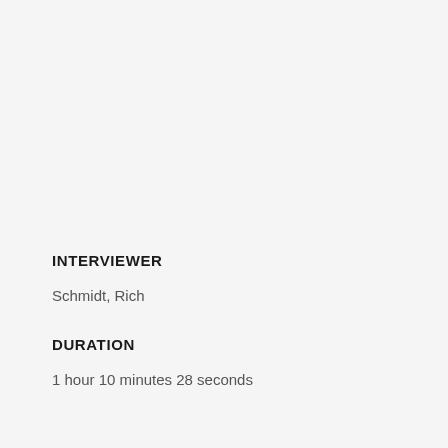INTERVIEWER
Schmidt, Rich
DURATION
1 hour 10 minutes 28 seconds